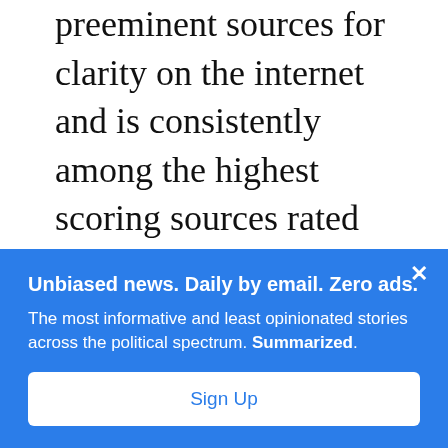preeminent sources for clarity on the internet and is consistently among the highest scoring sources rated by The Factual. Using a plethora of diverse and high-scoring external sources, authors for FactCheck.org neutrally and reliably counter misinformation
Unbiased news. Daily by email. Zero ads.
The most informative and least opinionated stories across the political spectrum. Summarized.
Sign Up